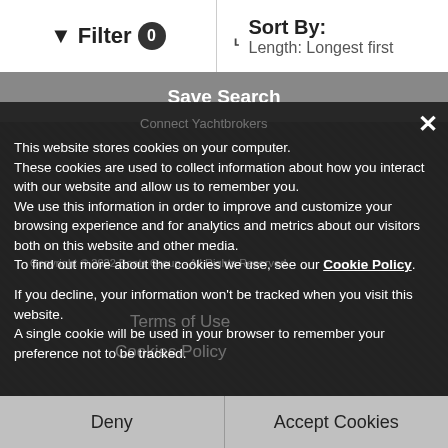Filter 0   Sort By: Length: Longest first
Save Search
Connect Yachtbrokers
This website stores cookies on your computer. These cookies are used to collect information about how you interact with our website and allow us to remember you. We use this information in order to improve and customize your browsing experience and for analytics and metrics about our visitors both on this website and other media. To find out more about the cookies we use, see our Cookie Policy.
Copyright © 2022 Boats Group - All Rights Reserved
Terms of Use
Cookies Policy
If you decline, your information won't be tracked when you visit this website. A single cookie will be used in your browser to remember your preference not to be tracked.
About Us
Do Not Sell My Personal Information
AdChoices
Deny
Accept Cookies